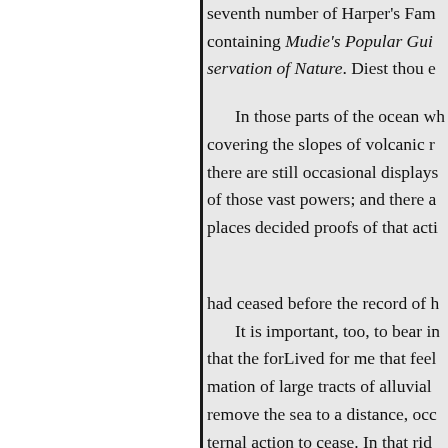seventh number of Harper's Fam containing Mudie's Popular Gui servation of Nature. Diest thou e In those parts of the ocean wh covering the slopes of volcanic r there are still occasional displays of those vast powers; and there a places decided proofs of that acti had ceased before the record of h It is important, too, to bear in that the forLived for me that feel mation of large tracts of alluvial remove the sea to a distance, occ ternal action to cease. In that rid tains in France which stands nea diterranean, on the right bank of there are many extinct volcanoes